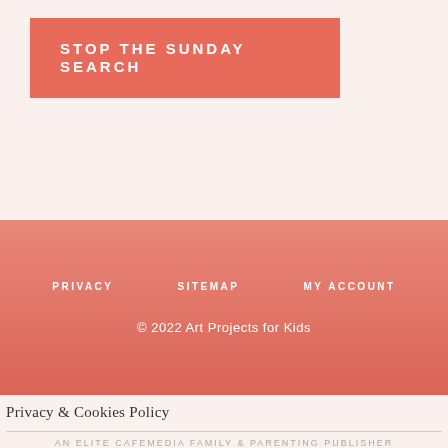STOP THE SUNDAY SEARCH
PRIVACY   SITEMAP   MY ACCOUNT
© 2022 Art Projects for Kids
Privacy & Cookies Policy
AN ELITE CAFEMEDIA FAMILY & PARENTING PUBLISHER
[Figure (other): Walgreens Photo advertisement banner: Satisfaction Guaranteed, Walgreens Photo, with blue diamond navigation arrow icon]